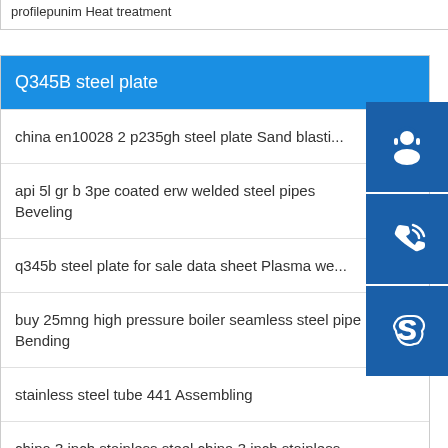profilepunim Heat treatment
Q345B steel plate
china en10028 2 p235gh steel plate Sand blasti...
api 5l gr b 3pe coated erw welded steel pipes Beveling
q345b steel plate for sale data sheet Plasma we...
buy 25mng high pressure boiler seamless steel pipe Bending
stainless steel tube 441 Assembling
china 3 inch stainless steel china 3 inch stainless steel Assembling